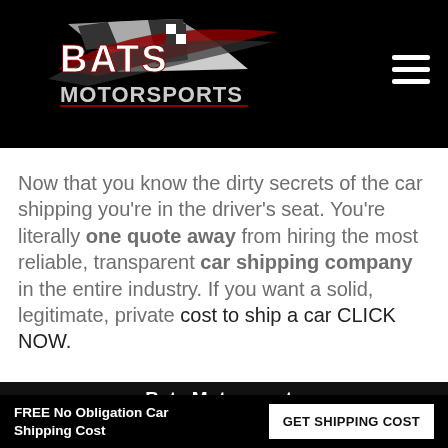[Figure (logo): Bats Motorsports logo with racing flag graphic on black header background]
Now that you know the dirty secrets of the car shipping you’re in the driver’s seat. You’re literally one quote away from hiring the most reliable, transparent car shipping company in the entire industry. If you want a solid, legitimate, private cost to ship a car CLICK NOW.
Bats Motorsports
FREE No Obligation Car Shipping Cost
GET SHIPPING COST